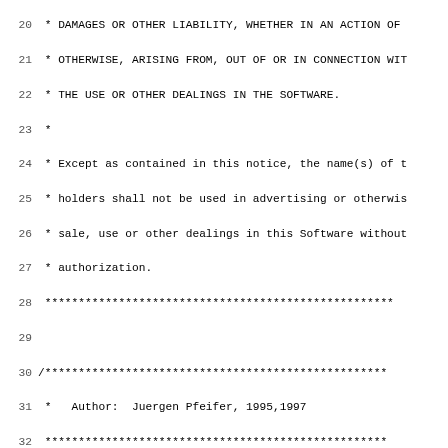Source code / license header and module documentation for m_item_nam.c
Lines 20-51 of a C source file showing copyright notice, author attribution, module description, includes, module ID, and function documentation block for item_name().